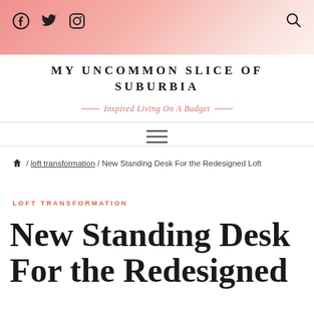My Uncommon Slice of Suburbia — Inspired Living On A Budget
[Figure (other): Navigation hamburger menu icon (three horizontal lines)]
/ loft transformation / New Standing Desk For the Redesigned Loft
LOFT TRANSFORMATION
New Standing Desk For the Redesigned